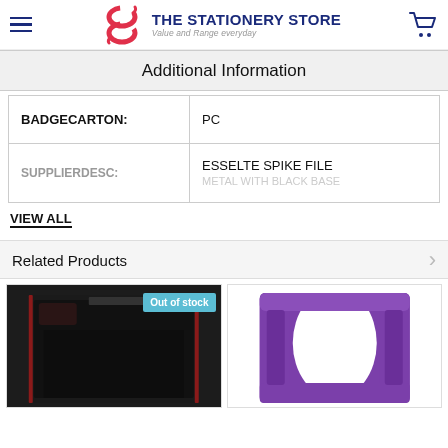THE STATIONERY STORE — Value and Range everyday
Additional Information
|  |  |
| --- | --- |
| BADGECARTON: | PC |
| SUPPLIERDESC: | ESSELTE SPIKE FILE |
VIEW ALL
Related Products
[Figure (photo): Dark black magazine/file holder, out of stock]
[Figure (photo): Purple plastic magazine/file holder]